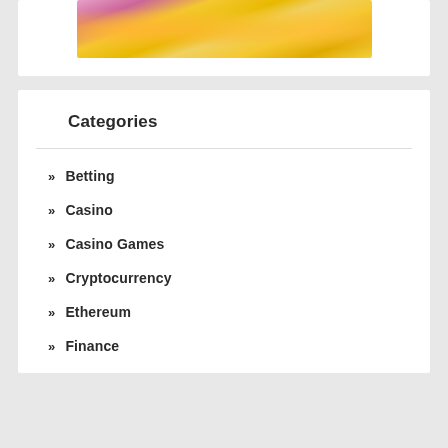[Figure (photo): Decorative image showing golden coins with pink floral elements in the background]
Categories
Betting
Casino
Casino Games
Cryptocurrency
Ethereum
Finance